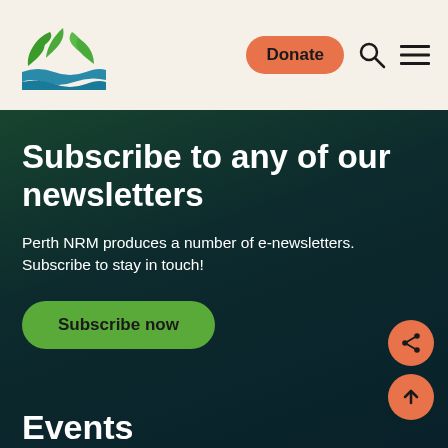Perth NRM — Donate | Search | Menu
Subscribe to any of our newsletters
Perth NRM produces a number of e-newsletters. Subscribe to stay in touch!
Subscribe now
Events